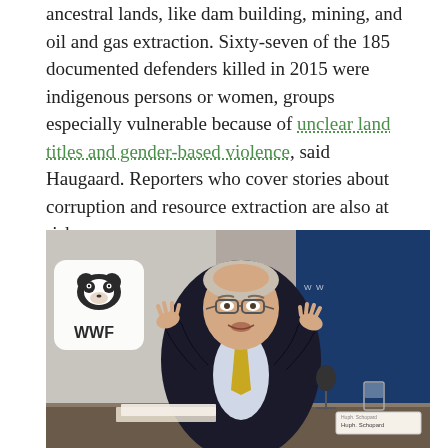ancestral lands, like dam building, mining, and oil and gas extraction. Sixty-seven of the 185 documented defenders killed in 2015 were indigenous persons or women, groups especially vulnerable because of unclear land titles and gender-based violence, said Haugaard. Reporters who cover stories about corruption and resource extraction are also at risk.
[Figure (photo): A man in a dark suit with a gold/yellow tie and glasses sitting at a conference table, gesturing with both hands while speaking. A WWF logo is visible on the left side, and a blue banner is on the right. A microphone and water glass are on the table in front of him. A name placard reads 'Huph. Schopard' or similar.]